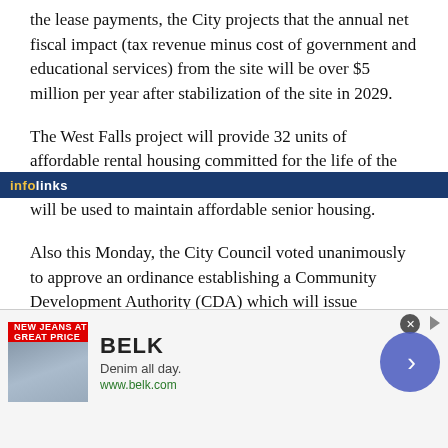the lease payments, the City projects that the annual net fiscal impact (tax revenue minus cost of government and educational services) from the site will be over $5 million per year after stabilization of the site in 2029.
The West Falls project will provide 32 units of affordable rental housing committed for the life of the year lease, and an annual developer subsidy of $228,000 will be used to maintain affordable senior housing.
Also this Monday, the City Council voted unanimously to approve an ordinance establishing a Community Development Authority (CDA) which will issue infrastructure bonds and impose a special assessment on
[Figure (other): Advertisement banner: infolinks label at bottom of text area, followed by a Belk ad showing 'Denim all day. www.belk.com' with a close button and navigation arrow circle]